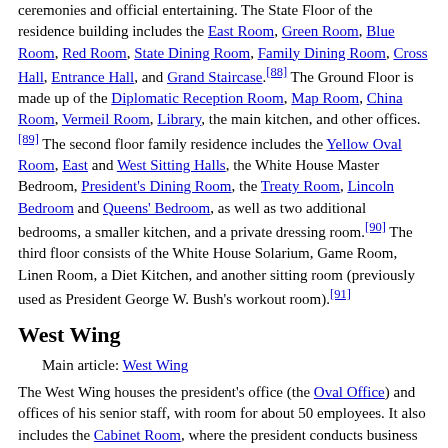ceremonies and official entertaining. The State Floor of the residence building includes the East Room, Green Room, Blue Room, Red Room, State Dining Room, Family Dining Room, Cross Hall, Entrance Hall, and Grand Staircase.[88] The Ground Floor is made up of the Diplomatic Reception Room, Map Room, China Room, Vermeil Room, Library, the main kitchen, and other offices.[89] The second floor family residence includes the Yellow Oval Room, East and West Sitting Halls, the White House Master Bedroom, President's Dining Room, the Treaty Room, Lincoln Bedroom and Queens' Bedroom, as well as two additional bedrooms, a smaller kitchen, and a private dressing room.[90] The third floor consists of the White House Solarium, Game Room, Linen Room, a Diet Kitchen, and another sitting room (previously used as President George W. Bush's workout room).[91]
West Wing
Main article: West Wing
The West Wing houses the president's office (the Oval Office) and offices of his senior staff, with room for about 50 employees. It also includes the Cabinet Room, where the president conducts business meetings and where the Cabinet meets,[92] as well as the White House Situation Room, James S. Brady Press Briefing